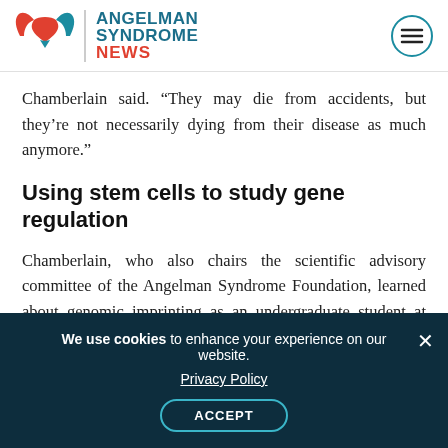[Figure (logo): Angelman Syndrome News logo with wing icon and hamburger menu button]
Chamberlain said. “They may die from accidents, but they’re not necessarily dying from their disease as much anymore.”
Using stem cells to study gene regulation
Chamberlain, who also chairs the scientific advisory committee of the Angelman Syndrome Foundation, learned about genomic imprinting as an undergraduate student at Princeton University. Her mentor was genetics professor Shirley
We use cookies to enhance your experience on our website. Privacy Policy ACCEPT